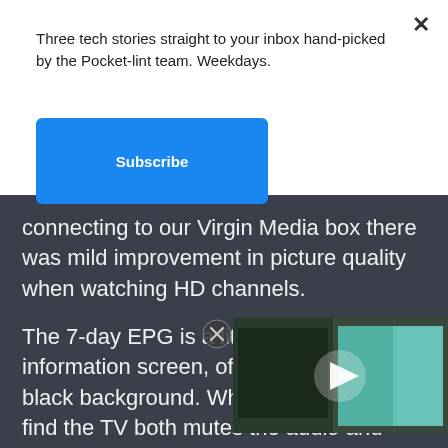Three tech stories straight to your inbox hand-picked by the Pocket-lint team. Weekdays.
Subscribe
connecting to our Virgin Media box there was mild improvement in picture quality when watching HD channels.
The 7-day EPG is a little bla information screen, offering black background. When en find the TV both mutes the audio and stops showing what you were watching, so it all feels a little primitive. It also feels slow to navigate, although you can route though and set reminders.
[Figure (screenshot): Video thumbnail showing TV screens with a play button overlay]